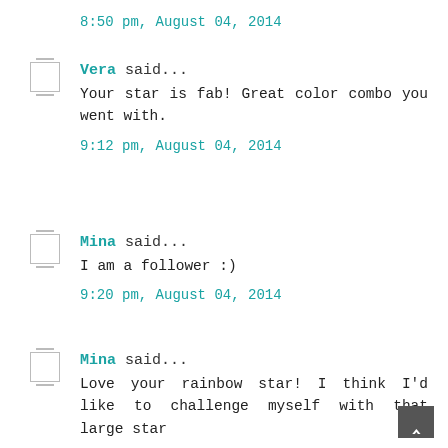8:50 pm, August 04, 2014
Vera said...
Your star is fab! Great color combo you went with.
9:12 pm, August 04, 2014
Mina said...
I am a follower :)
9:20 pm, August 04, 2014
Mina said...
Love your rainbow star! I think I'd like to challenge myself with that large star